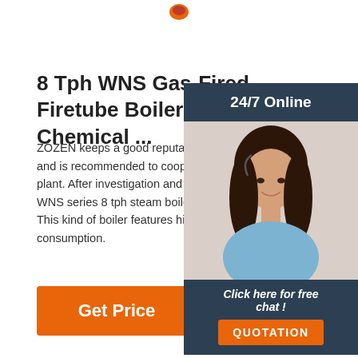[Figure (logo): Small logo icon at the top center of the page]
8 Tph WNS Gas-Fired Firetube Boiler Project For Chemical ...
ZOZEN keeps a good reputation in the chemical industry and is recommended to cooperate with Zhuote plant. After investigation and study, ZOZEN provided WNS series 8 tph steam boiler for Zhuote chemical. This kind of boiler features high efficiency and low consumption.
[Figure (infographic): Sidebar with 24/7 Online banner, photo of a woman wearing headset smiling, and a dark navy background with 'Click here for free chat!' text and an orange QUOTATION button]
Get Price